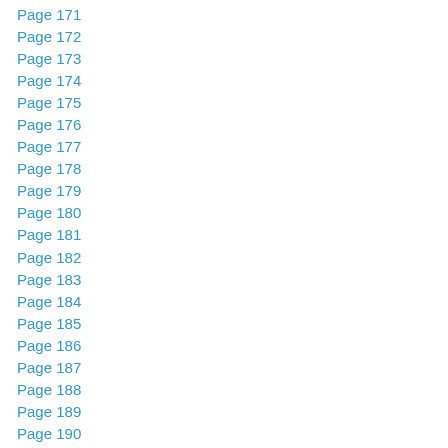Page 171
Page 172
Page 173
Page 174
Page 175
Page 176
Page 177
Page 178
Page 179
Page 180
Page 181
Page 182
Page 183
Page 184
Page 185
Page 186
Page 187
Page 188
Page 189
Page 190